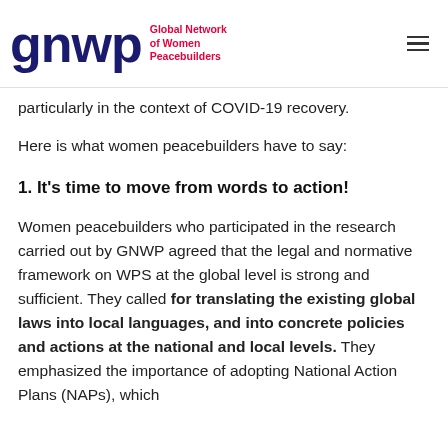gnwp Global Network of Women Peacebuilders
particularly in the context of COVID-19 recovery.
Here is what women peacebuilders have to say:
1. It's time to move from words to action!
Women peacebuilders who participated in the research carried out by GNWP agreed that the legal and normative framework on WPS at the global level is strong and sufficient. They called for translating the existing global laws into local languages, and into concrete policies and actions at the national and local levels. They emphasized the importance of adopting National Action Plans (NAPs), which